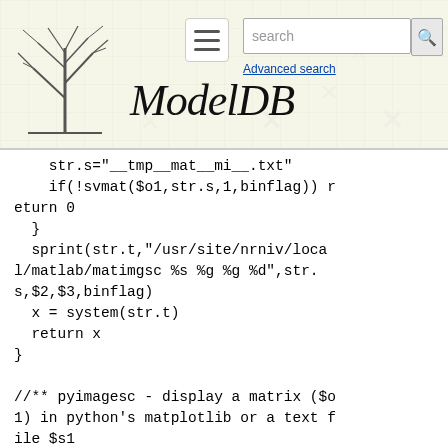[Figure (logo): ModelDB website header with tree logo, hamburger menu, search box, and Advanced search link. The site title reads ModelDB in italic serif font.]
str.s="__tmp__mat__mi__.txt"
    if(!svmat($o1,str.s,1,binflag)) return 0
  }
  sprint(str.t,"/usr/site/nrniv/local/matlab/matimgsc %s %g %g %d",str.s,$2,$3,binflag)
  x = system(str.t)
  return x
}

//** pyimagesc - display a matrix ($o1) in python's matplotlib or a text file $s1
//opt:[$2=min scaling for colors, $3=max scaling for colors, [$s4=title,$s5=xlabel,$s6=ylabel]
func pyimagesc () { local i,minc,maxc
  localobj str,cmd,strout,strt,strl,fp
  str=new String2()